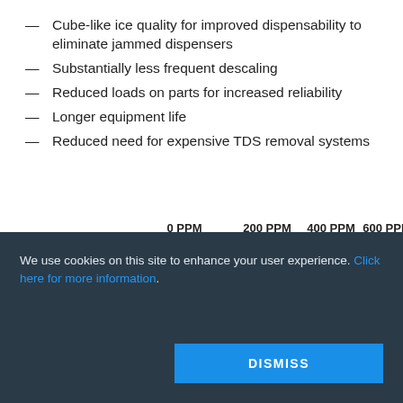Cube-like ice quality for improved dispensability to eliminate jammed dispensers
Substantially less frequent descaling
Reduced loads on parts for increased reliability
Longer equipment life
Reduced need for expensive TDS removal systems
[Figure (bar-chart): TDS scale chart]
We use cookies on this site to enhance your user experience. Click here for more information.